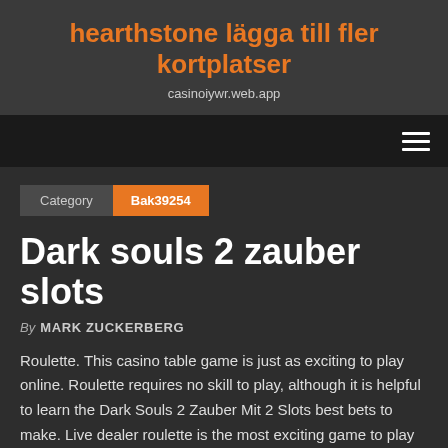hearthstone lägga till fler kortplatser
casinoiywr.web.app
Category | Bak39254
Dark souls 2 zauber slots
By MARK ZUCKERBERG
Roulette. This casino table game is just as exciting to play online. Roulette requires no skill to play, although it is helpful to learn the Dark Souls 2 Zauber Mit 2 Slots best bets to make. Live dealer roulette is the most exciting game to play on online casinos, but bettors can find other